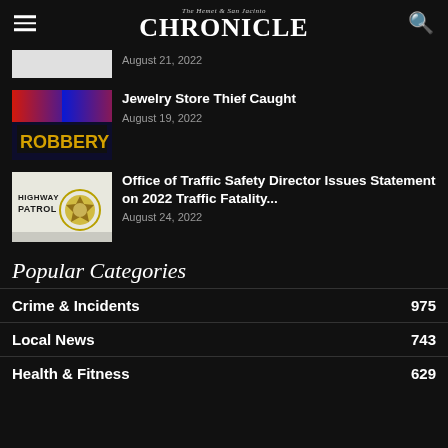The Hemet & San Jacinto CHRONICLE
August 21, 2022
Jewelry Store Thief Caught
August 19, 2022
Office of Traffic Safety Director Issues Statement on 2022 Traffic Fatality...
August 24, 2022
Popular Categories
Crime & Incidents   975
Local News   743
Health & Fitness   629